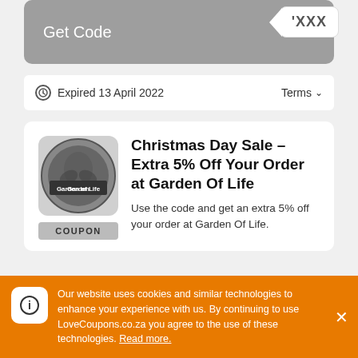[Figure (other): Get Code button with XXXX code badge, grey background]
Expired 13 April 2022   Terms ⌄
Christmas Day Sale - Extra 5% Off Your Order at Garden Of Life
Use the code and get an extra 5% off your order at Garden Of Life.
[Figure (other): Get Code button with XXX code badge, grey background]
Our website uses cookies and similar technologies to enhance your experience with us. By continuing to use LoveCoupons.co.za you agree to the use of these technologies. Read more.